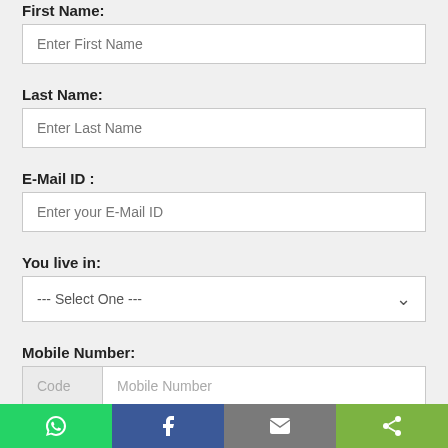First Name:
Enter First Name
Last Name:
Enter Last Name
E-Mail ID :
Enter your E-Mail ID
You live in:
--- Select One ---
Mobile Number:
Code   Mobile Number
You want to study in: